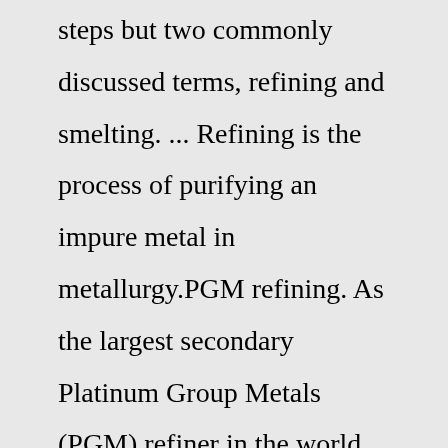steps but two commonly discussed terms, refining and smelting. ... Refining is the process of purifying an impure metal in metallurgy.PGM refining. As the largest secondary Platinum Group Metals (PGM) refiner in the world, we've developed highly advanced processes for extracting and separating pgms from products - so advanced that we can refine pgms to a purity of 99.95%. We work with our customers to optimise precious metals